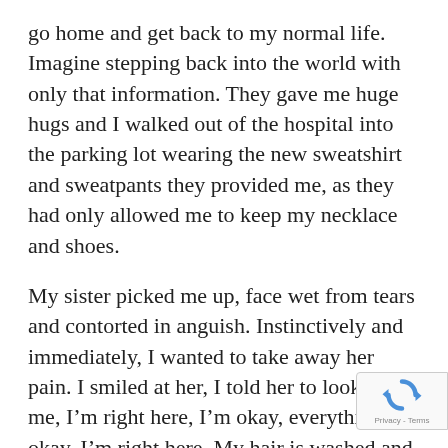go home and get back to my normal life. Imagine stepping back into the world with only that information. They gave me huge hugs and I walked out of the hospital into the parking lot wearing the new sweatshirt and sweatpants they provided me, as they had only allowed me to keep my necklace and shoes.
My sister picked me up, face wet from tears and contorted in anguish. Instinctively and immediately, I wanted to take away her pain. I smiled at her, I told her to look at me, I’m right here, I’m okay, everything’s okay, I’m right here. My hair is washed and clean, they gave me the strangest shampoo, calm down and look at me. Look at these funny new sweatpants and sweatshirt, I look like a P...
[Figure (other): reCAPTCHA badge with rotating arrows logo and 'Privacy - Terms' text]